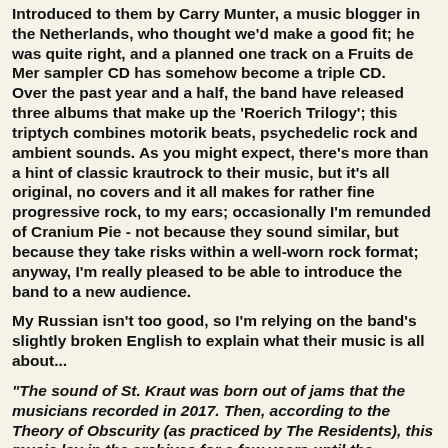Introduced to them by Carry Munter, a music blogger in the Netherlands, who thought we'd make a good fit; he was quite right, and a planned one track on a Fruits de Mer sampler CD has somehow become a triple CD. Over the past year and a half, the band have released three albums that make up the 'Roerich Trilogy'; this triptych combines motorik beats, psychedelic rock and ambient sounds. As you might expect, there's more than a hint of classic krautrock to their music, but it's all original, no covers and it all makes for rather fine progressive rock, to my ears; occasionally I'm remunded of Cranium Pie - not because they sound similar, but because they take risks within a well-worn rock format; anyway, I'm really pleased to be able to introduce the band to a new audience.
My Russian isn't too good, so I'm relying on the band's slightly broken English to explain what their music is all about...
"The sound of St. Kraut was born out of jams that the musicians recorded in 2017. Then, according to the Theory of Obscurity (as practiced by The Residents), this music lay in the archives for a few years until the musicians themselves forgot what they had recorded. And then it was a time to begin to release these recordings, accompanying them with paintings by the Russian artist Nicholai Roerich, the favorite artist of each of the musicians.
The album 'Boring and Olaf' was the first to come out; it...